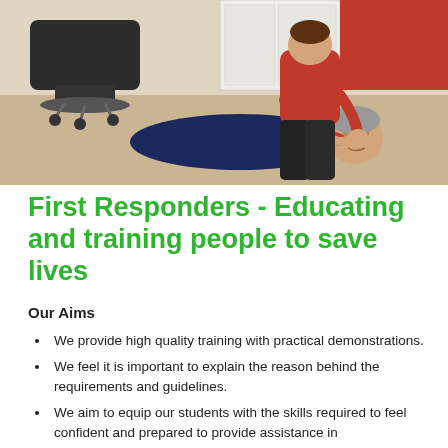[Figure (photo): A person wearing a red top performing first aid on someone lying on the floor in an office setting, with office chairs visible in the background.]
First Responders - Educating and training people to save lives
Our Aims
We provide high quality training with practical demonstrations.
We feel it is important to explain the reason behind the requirements and guidelines.
We aim to equip our students with the skills required to feel confident and prepared to provide assistance in